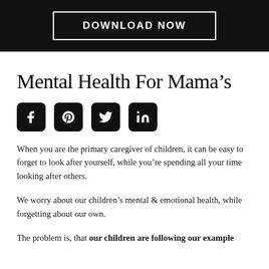[Figure (other): Black banner with a white-bordered button labeled DOWNLOAD NOW in white uppercase bold text]
Mental Health For Mama’s
[Figure (other): Four social media icon buttons (Facebook, Pinterest, Twitter, LinkedIn) in black rounded square icons in a row]
When you are the primary caregiver of children, it can be easy to forget to look after yourself, while you’re spending all your time looking after others.
We worry about our children’s mental & emotional health, while forgetting about our own.
The problem is, that our children are following our example